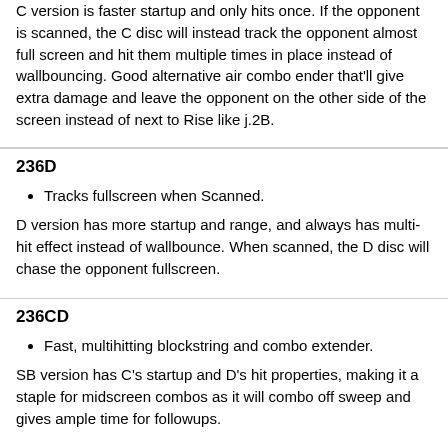C version is faster startup and only hits once. If the opponent is scanned, the C disc will instead track the opponent almost full screen and hit them multiple times in place instead of wallbouncing. Good alternative air combo ender that'll give extra damage and leave the opponent on the other side of the screen instead of next to Rise like j.2B.
236D
Tracks fullscreen when Scanned.
D version has more startup and range, and always has multi-hit effect instead of wallbounce. When scanned, the D disc will chase the opponent fullscreen.
236CD
Fast, multihitting blockstring and combo extender.
SB version has C's startup and D's hit properties, making it a staple for midscreen combos as it will combo off sweep and gives ample time for followups.
Tetrakarn/Makarakarn